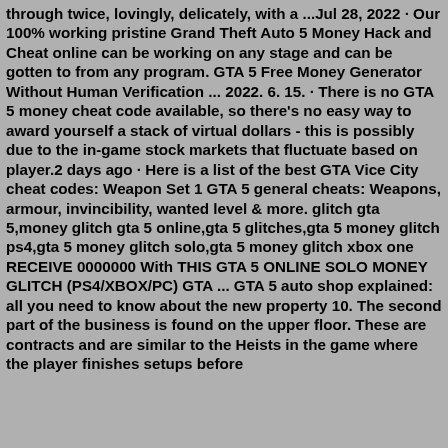through twice, lovingly, delicately, with a ...Jul 28, 2022 · Our 100% working pristine Grand Theft Auto 5 Money Hack and Cheat online can be working on any stage and can be gotten to from any program. GTA 5 Free Money Generator Without Human Verification ... 2022. 6. 15. · There is no GTA 5 money cheat code available, so there's no easy way to award yourself a stack of virtual dollars - this is possibly due to the in-game stock markets that fluctuate based on player.2 days ago · Here is a list of the best GTA Vice City cheat codes: Weapon Set 1 GTA 5 general cheats: Weapons, armour, invincibility, wanted level & more. glitch gta 5,money glitch gta 5 online,gta 5 glitches,gta 5 money glitch ps4,gta 5 money glitch solo,gta 5 money glitch xbox one RECEIVE 0000000 With THIS GTA 5 ONLINE SOLO MONEY GLITCH (PS4/XBOX/PC) GTA ... GTA 5 auto shop explained: all you need to know about the new property 10. The second part of the business is found on the upper floor. These are contracts and are similar to the Heists in the game where the player finishes setups before